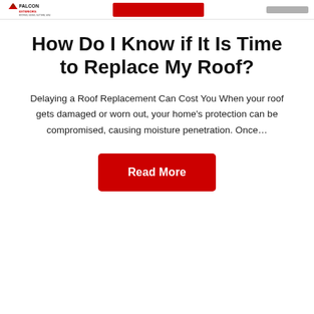Falcon Exteriors logo, navigation red button, navigation gray button
How Do I Know if It Is Time to Replace My Roof?
Delaying a Roof Replacement Can Cost You When your roof gets damaged or worn out, your home's protection can be compromised, causing moisture penetration. Once…
Read More